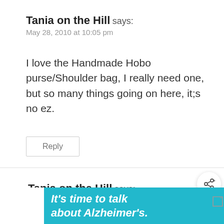Tania on the Hill says:
May 28, 2010 at 10:05 pm
I love the Handmade Hobo purse/Shoulder bag, I really need one, but so many things going on here, it;s no ez.
Reply
Tania on the Hill says:
May 28, 2010 at 10:05 pm
[Figure (screenshot): Share button icon (circle with share symbol)]
[Figure (infographic): What's Next panel with food image thumbnail and text: One Pot Meals and Easy...]
[Figure (infographic): Advertisement banner: It's time to talk about Alzheimer's. with LEARN MORE button and Alzheimer's Association logo]